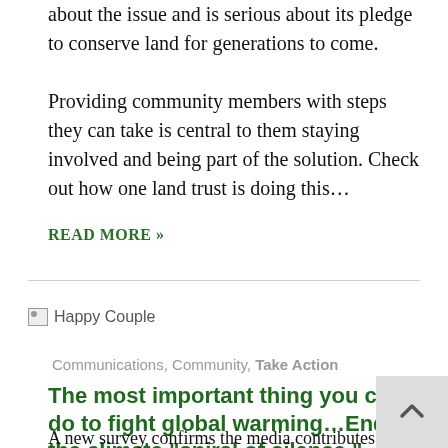about the issue and is serious about its pledge to conserve land for generations to come.
Providing community members with steps they can take is central to them staying involved and being part of the solution. Check out how one land trust is doing this…
READ MORE »
[Figure (photo): Broken image placeholder labeled 'Happy Couple']
Communications, Community, Take Action
The most important thing you can do to fight global warming…End the climate “spiral of silence.”
A new survey confirms the media contributes to